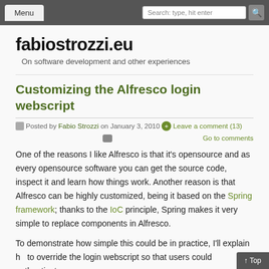Menu | Search: type, hit enter
fabiostrozzi.eu
On software development and other experiences
Customizing the Alfresco login webscript
Posted by Fabio Strozzi on January 3, 2010  Leave a comment (13)  Go to comments
One of the reasons I like Alfresco is that it's opensource and as every opensource software you can get the source code, inspect it and learn how things work. Another reason is that Alfresco can be highly customized, being it based on the Spring framework; thanks to the IoC principle, Spring makes it very simple to replace components in Alfresco.
To demonstrate how simple this could be in practice, I'll explain how to override the login webscript so that users could authenticate